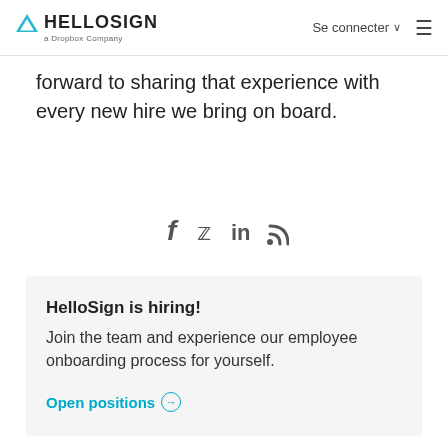HELLOSIGN a Dropbox Company | Se connecter ∨ ≡
forward to sharing that experience with every new hire we bring on board.
[Figure (other): Social media icons: Facebook, Twitter, LinkedIn, RSS feed]
HelloSign is hiring!
Join the team and experience our employee onboarding process for yourself.
Open positions →